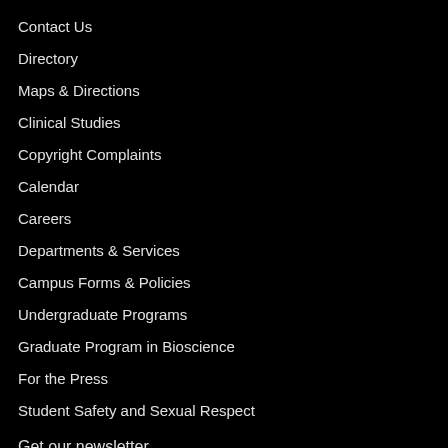Contact Us
Directory
Maps & Directions
Clinical Studies
Copyright Complaints
Calendar
Careers
Departments & Services
Campus Forms & Policies
Undergraduate Programs
Graduate Program in Bioscience
For the Press
Student Safety and Sexual Respect
Get our newsletter
The latest science discoveries delivered monthly to your inbox.